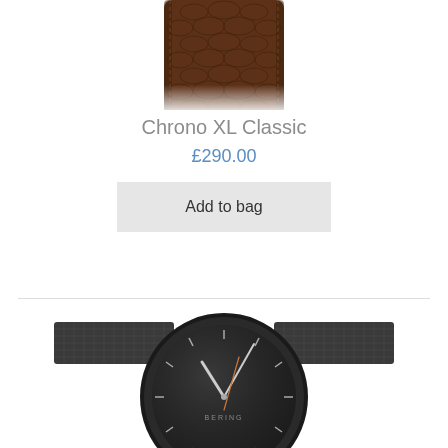[Figure (photo): Partial view of a watch with brown crocodile leather strap, cropped at top of page]
Chrono XL Classic
£290.00
Add to bag
[Figure (photo): Bering watch with dark grey/black mesh bracelet and black dial with silver and rose gold hands, BERING text on dial]